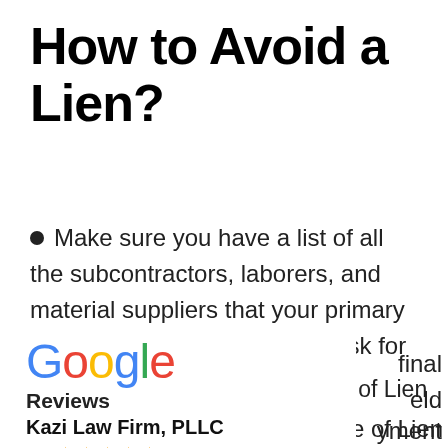How to Avoid a Lien?
Make sure you have a list of all the subcontractors, laborers, and material suppliers that your primary contractor will be using, and ask for proof that everyone ... final ... eld ... yment ... of Lien
[Figure (logo): Google Reviews logo overlay with Kazi Law Firm, PLLC, 5.0 star rating]
and Affidavit (or Partial Release of Lien and